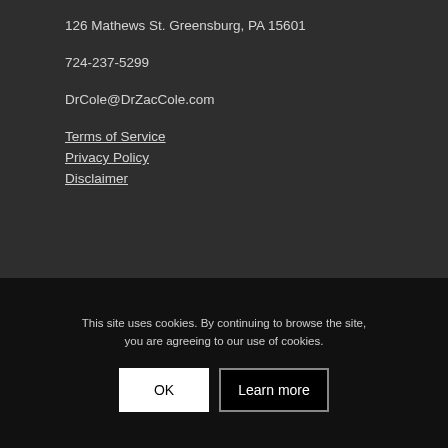126 Mathews St. Greensburg, PA 15601
724-237-5299
DrCole@DrZacCole.com
Terms of Service
Privacy Policy
Disclaimer
FOLLOW US ON FACEBOOK
This site uses cookies. By continuing to browse the site, you are agreeing to our use of cookies.
OK
Learn more